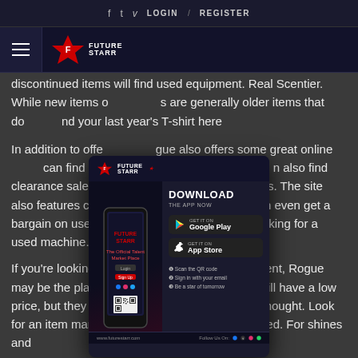f  t  v  LOGIN / REGISTER
[Figure (logo): FutureStarr logo with hamburger menu icon and star logo mark]
discontinued items will find used equipment. Real Scentier. While new items on the site are generally older items that did not sell well. You can find your last year's T-shirt here!
[Figure (screenshot): FutureStarr app download popup showing a phone mockup, Download The App Now text, Google Play and App Store buttons, QR code steps, and www.futurestarr.com URL]
In addition to offering used Rogue equipment, Rogue also offers some great online deals on used gear. You can find specials and coupons for discounted items. You can also find clearance sales on used gym equipment. These are often limited-time sales. The site also features closeouts on its used gear. You can even get a bargain on used exercise equipment if you're looking for a used machine.
If you're looking for a particular exercise equipment, Rogue may be the place to find it. Discontinued items will have a low price, but they may not be as functional as you thought. Look for an item marked with a !2 Shine Free Item! lined. For shines and